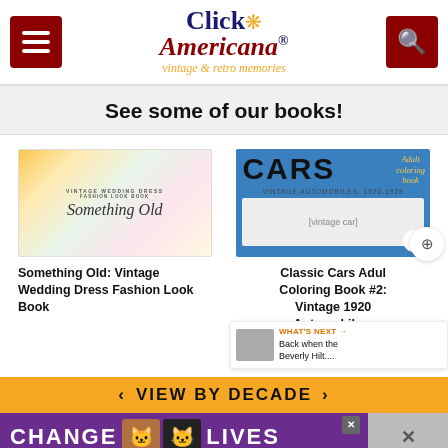Click Americana — vintage & retro memories
See some of our books!
[Figure (photo): Book cover: Something Old: Vintage Wedding Dress Fashion Look Book, illustrated floral design]
Something Old: Vintage Wedding Dress Fashion Look Book
[Figure (photo): Book cover: Classic Cars Adult Coloring Book #2: Vintage Automobiles 1920-1929, blue cover with vintage car illustration]
Classic Cars Adult Coloring Book #2: Vintage Automobiles:
[Figure (screenshot): WHAT'S NEXT — Back when the Beverly Hilt... notification overlay]
VIEW BY DECADE
[Figure (photo): Advertisement banner: CHANGE LIVES with cats photo, purple background]